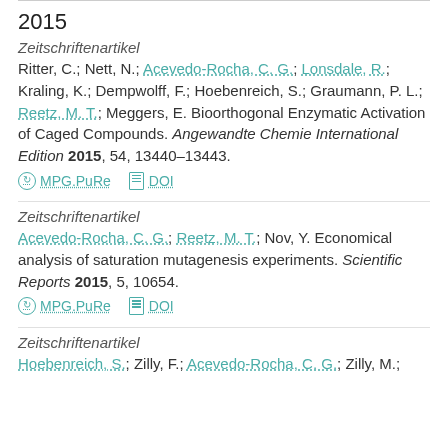2015
Zeitschriftenartikel
Ritter, C.; Nett, N.; Acevedo-Rocha, C. G.; Lonsdale, R.; Kraling, K.; Dempwolff, F.; Hoebenreich, S.; Graumann, P. L.; Reetz, M. T.; Meggers, E. Bioorthogonal Enzymatic Activation of Caged Compounds. Angewandte Chemie International Edition 2015, 54, 13440–13443.
MPG.PuRe   DOI
Zeitschriftenartikel
Acevedo-Rocha, C. G.; Reetz, M. T.; Nov, Y. Economical analysis of saturation mutagenesis experiments. Scientific Reports 2015, 5, 10654.
MPG.PuRe   DOI
Zeitschriftenartikel
Hoebenreich, S.; Zilly, F.; Acevedo-Rocha, C. G.; Zilly, M.;